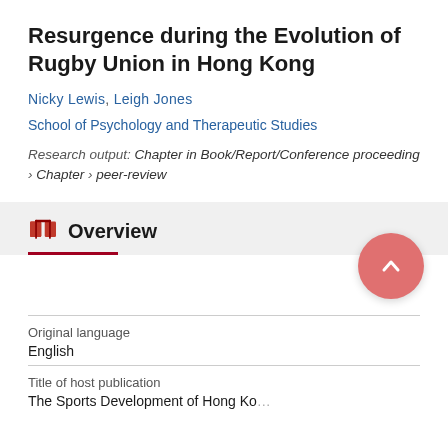Resurgence during the Evolution of Rugby Union in Hong Kong
Nicky Lewis, Leigh Jones
School of Psychology and Therapeutic Studies
Research output: Chapter in Book/Report/Conference proceeding › Chapter › peer-review
Overview
| Field | Value |
| --- | --- |
| Original language | English |
| Title of host publication | The Sports Development of Hong Kong... |